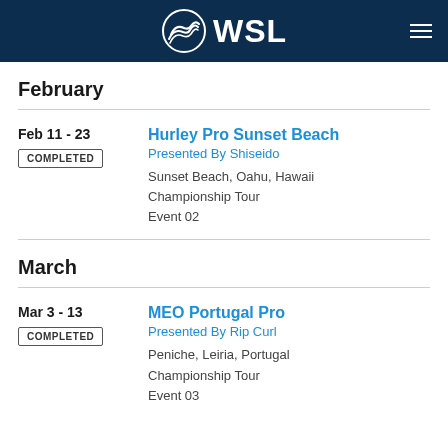WSL
February
Feb 11 - 23
COMPLETED
Hurley Pro Sunset Beach
Presented By Shiseido
Sunset Beach, Oahu, Hawaii
Championship Tour
Event 02
March
Mar 3 - 13
COMPLETED
MEO Portugal Pro
Presented By Rip Curl
Peniche, Leiria, Portugal
Championship Tour
Event 03